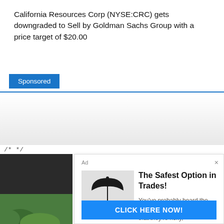California Resources Corp (NYSE:CRC) gets downgraded to Sell by Goldman Sachs Group with a price target of $20.00
Sponsored
/* */
EDITO
[Figure (illustration): Hand holding an umbrella over coins, representing safe trading]
The Safest Option in Trades!
You've probably heard the wrong thing about options—that they're risky, unpredictable, difficult. It couldn't be mor...
CLICK HERE NOW!